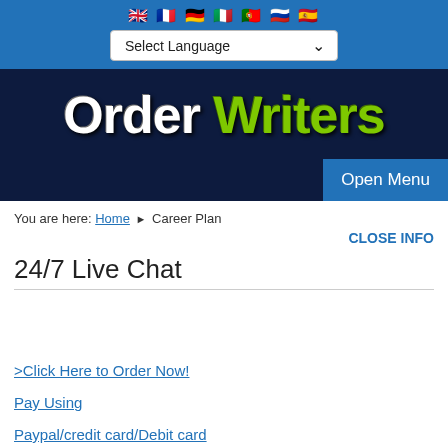[Figure (other): Flag icons for UK, France, Germany, Italy, Portugal, Russia, Spain]
Select Language
[Figure (logo): Order Writers logo — white 'Order' and green 'Writers' on dark navy background]
Open Menu
You are here: Home ▶ Career Plan
CLOSE INFO
24/7 Live Chat
>Click Here to Order Now!
Pay Using
Paypal/credit card/Debit card